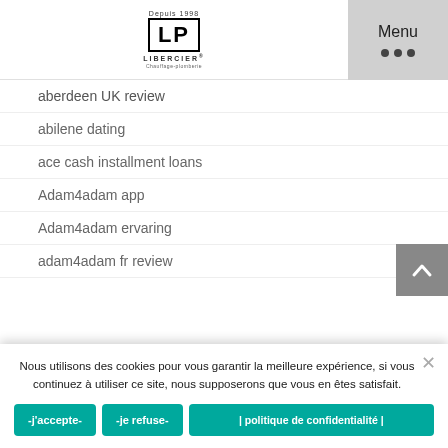LP Libercier — Menu
aberdeen UK review
abilene dating
ace cash installment loans
Adam4adam app
Adam4adam ervaring
adam4adam fr review
adam4adam kasowac
adam4adam Konto loschen
Adam4adam online
Nous utilisons des cookies pour vous garantir la meilleure expérience, si vous continuez à utiliser ce site, nous supposerons que vous en êtes satisfait.
-j'accepte-
-je refuse-
| politique de confidentialité |